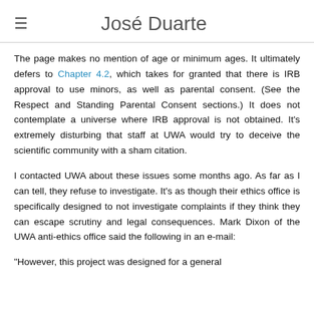José Duarte
The page makes no mention of age or minimum ages. It ultimately defers to Chapter 4.2, which takes for granted that there is IRB approval to use minors, as well as parental consent. (See the Respect and Standing Parental Consent sections.) It does not contemplate a universe where IRB approval is not obtained. It's extremely disturbing that staff at UWA would try to deceive the scientific community with a sham citation.
I contacted UWA about these issues some months ago. As far as I can tell, they refuse to investigate. It's as though their ethics office is specifically designed to not investigate complaints if they think they can escape scrutiny and legal consequences. Mark Dixon of the UWA anti-ethics office said the following in an e-mail:
"However, this project was designed for a general